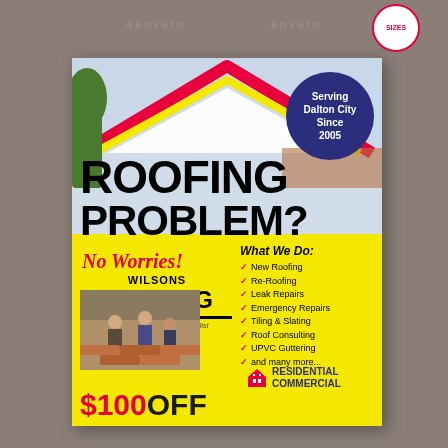[Figure (illustration): Roofing company promotional flyer for Wilsons Roofing. Dark tan/brown background with a tilted flyer card. Flyer shows a house roofline graphic in red and yellow, a blue circle badge reading 'Serving Dalton City Since 2005', large black text 'ROOFING PROBLEM?', red cursive 'No Worries!', Wilsons ROOFING logo, a yellow bottom section with a services checklist 'What We Do', worker photo, residential/commercial icon, and '$100 OFF' text in red.]
Serving Dalton City Since 2005
ROOFING PROBLEM?
No Worries!
WILSONS ROOFING Professional Roofing Specialist
New Roofing
Re-Roofing
Leak Repairs
Emergency Repairs
Tiling & Slating
Roof Consulting
UPVC Guttering
and many more...
RESIDENTIAL COMMERCIAL
$100 OFF